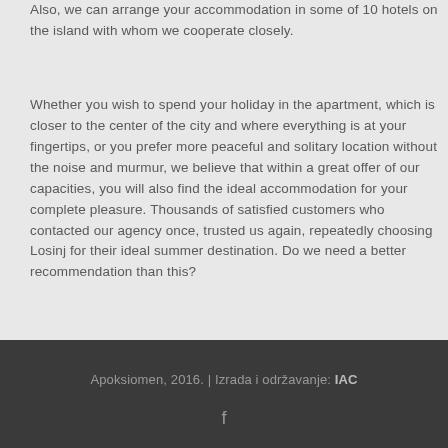Also, we can arrange your accommodation in some of 10 hotels on the island with whom we cooperate closely.
Whether you wish to spend your holiday in the apartment, which is closer to the center of the city and where everything is at your fingertips, or you prefer more peaceful and solitary location without the noise and murmur, we believe that within a great offer of our capacities, you will also find the ideal accommodation for your complete pleasure. Thousands of satisfied customers who contacted our agency once, trusted us again, repeatedly choosing Losinj for their ideal summer destination. Do we need a better recommendation than this?
Apoksiomen, 2016. | Izrada i održavanje: IAC